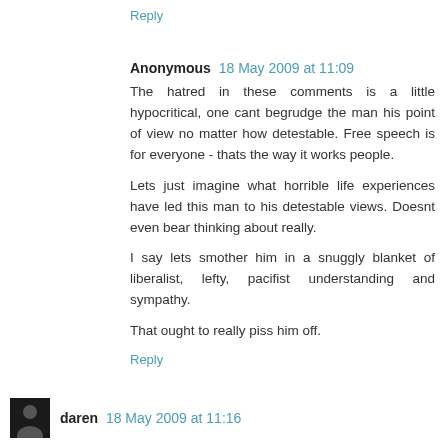Reply
Anonymous  18 May 2009 at 11:09
The hatred in these comments is a little hypocritical, one cant begrudge the man his point of view no matter how detestable. Free speech is for everyone - thats the way it works people.

Lets just imagine what horrible life experiences have led this man to his detestable views. Doesnt even bear thinking about really.

I say lets smother him in a snuggly blanket of liberalist, lefty, pacifist understanding and sympathy.

That ought to really piss him off.
Reply
daren  18 May 2009 at 11:16